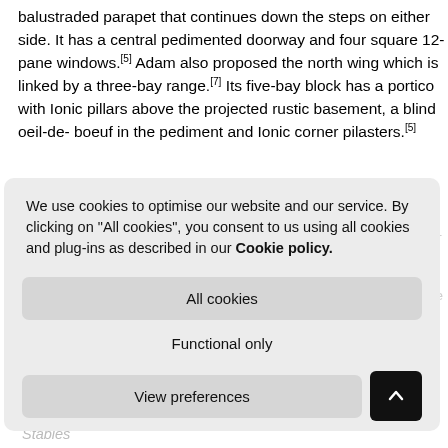balustraded parapet that continues down the steps on either side. It has a central pedimented doorway and four square 12-pane windows.[5] Adam also proposed the north wing which is linked by a three-bay range.[7] Its five-bay block has a portico with Ionic pillars above the projected rustic basement, a blind oeil-de- boeuf in the pediment and Ionic corner pilasters.[5]
Kitchen pavilion
We use cookies to optimise our website and our service. By clicking on "All cookies", you consent to us using all cookies and plug-ins as described in our Cookie policy.
The kitchen pavilion is square in plan with a basement and attic under its pyramid roof. Each facade is symmetrical with three bays except for the east side which is attached to the passage joining it to the house. The roof has central dormers in each side and a large square chimney in the apex. The ground floor windows are 15-pane sashes and 9-pane sashes above.[5]
Stables